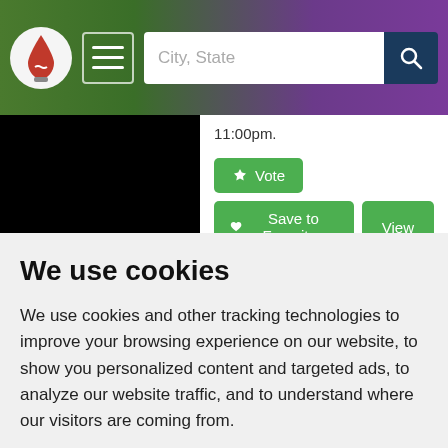[Figure (screenshot): Website navigation bar with red drop logo, hamburger menu icon, and City State search bar with dark blue search button]
11:00pm.
[Figure (screenshot): Green Vote button with trophy icon]
[Figure (screenshot): Green Save to Favorites button with heart icon and green View button]
Husting Rd
Last updated in 2014
We use cookies
We use cookies and other tracking technologies to improve your browsing experience on our website, to show you personalized content and targeted ads, to analyze our website traffic, and to understand where our visitors are coming from.